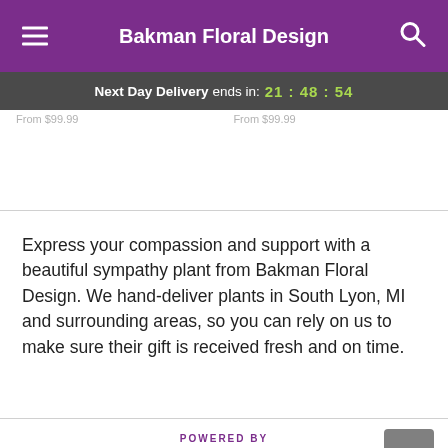Bakman Floral Design
Next Day Delivery ends in: 21:48:54
Express your compassion and support with a beautiful sympathy plant from Bakman Floral Design. We hand-deliver plants in South Lyon, MI and surrounding areas, so you can rely on us to make sure their gift is received fresh and on time.
[Figure (logo): Lovingly logo with heart icon and 'lovingly' text]
POWERED BY